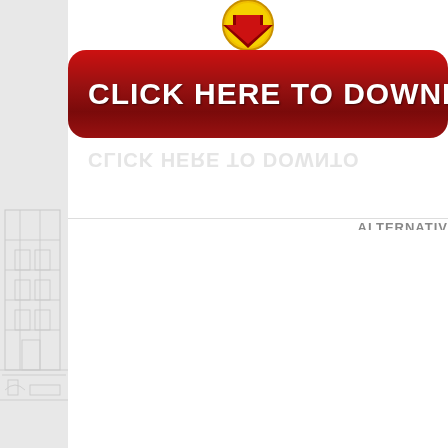[Figure (illustration): Faint grayscale sketch of a building/construction scene on the left strip]
[Figure (illustration): Red rounded download button with gold/yellow arrow icon above it and white bold text reading CLICK HERE TO DOWNLOAD, with a faded reflection below]
ALTERNATIV